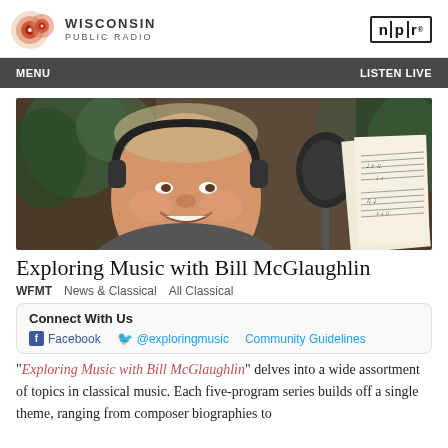Wisconsin Public Radio | npr
[Figure (photo): Man with headphones smiling at a microphone, with sheet music visible in the background and green plants]
Exploring Music with Bill McGlaughlin
WFMT   News & Classical   All Classical
Connect With Us
Facebook   @exploringmusic   Community Guidelines
"Exploring Music with Bill McGlaughlin" delves into a wide assortment of topics in classical music. Each five-program series builds off a single theme, ranging from composer biographies to